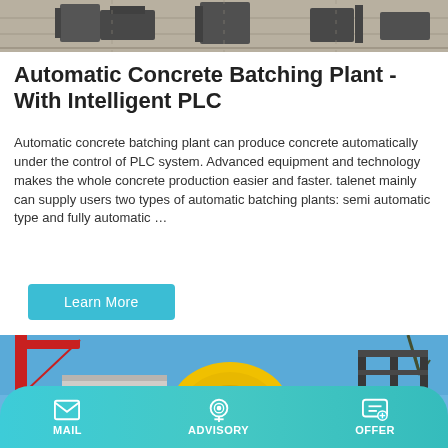[Figure (photo): Top portion of an automatic concrete batching plant facility, showing industrial machinery/equipment from above or at a distance on a concrete surface.]
Automatic Concrete Batching Plant - With Intelligent PLC
Automatic concrete batching plant can produce concrete automatically under the control of PLC system. Advanced equipment and technology makes the whole concrete production easier and faster. talenet mainly can supply users two types of automatic batching plants: semi automatic type and fully automatic …
Learn More
[Figure (photo): A yellow concrete mixer / batching plant with a large yellow drum and discharge spout, set against a clear blue sky with a red crane visible on the left and a dark industrial structure on the right. A building with windows is visible in the background.]
MAIL   ADVISORY   OFFER